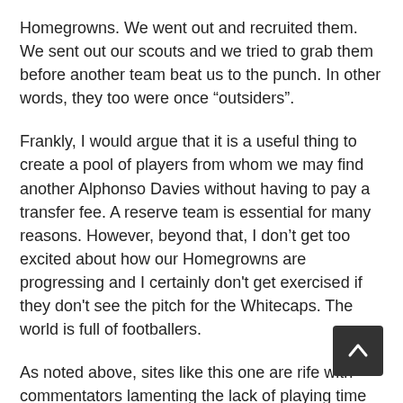Homegrowns. We went out and recruited them. We sent out our scouts and we tried to grab them before another team beat us to the punch. In other words, they too were once “outsiders”.
Frankly, I would argue that it is a useful thing to create a pool of players from whom we may find another Alphonso Davies without having to pay a transfer fee. A reserve team is essential for many reasons. However, beyond that, I don’t get too excited about how our Homegrowns are progressing and I certainly don't get exercised if they don't see the pitch for the Whitecaps. The world is full of footballers.
As noted above, sites like this one are rife with commentators lamenting the lack of playing time afforded to young lads like Marco Bustos, Kianz Froese, Caleb Clarke, Ben McKendry or their like. These commentators are certain that these Homegrowns must see the pitch, improve, impress, and become first team regulars. I've also seen these commentators argue that